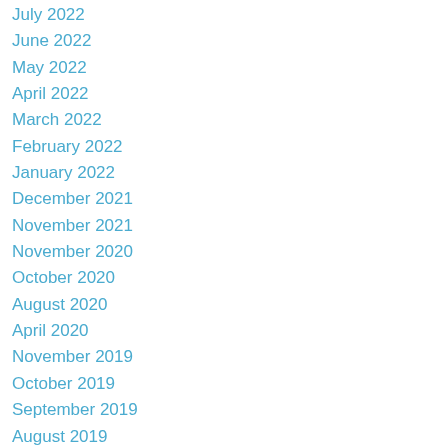July 2022
June 2022
May 2022
April 2022
March 2022
February 2022
January 2022
December 2021
November 2021
November 2020
October 2020
August 2020
April 2020
November 2019
October 2019
September 2019
August 2019
July 2019
June 2019
May 2019